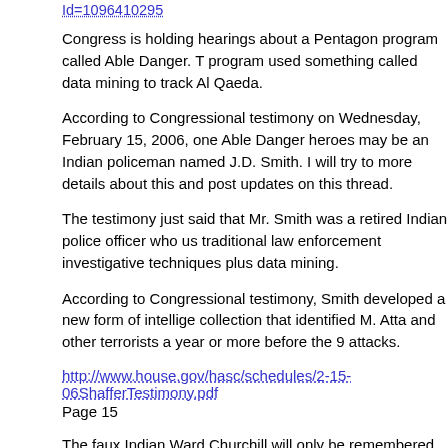Id=1096410295
Congress is holding hearings about a Pentagon program called Able Danger. The program used something called data mining to track Al Qaeda.
According to Congressional testimony on Wednesday, February 15, 2006, one of the Able Danger heroes may be an Indian policeman named J.D. Smith. I will try to get more details about this and post updates on this thread.
The testimony just said that Mr. Smith was a retired Indian police officer who used traditional law enforcement investigative techniques plus data mining.
According to Congressional testimony, Smith developed a new form of intelligence collection that identified M. Atta and other terrorists a year or more before the 9/11 attacks.
http://www.house.gov/hasc/schedules/2-15-06ShafferTestimony.pdf
Page 15
The faux Indian Ward Churchill will only be remembered for talking through his hat. real American Indians will always be remembered for their contributions to signals intelligence during both world wars. They were famous as code talkers who spoke languages that the enemy could not understand.
"At Iwo Jima, Major Howard Connor, 5th Marine Division signal officer, declared if not for the Navajos, the Marines would never have taken Iwo Jima." Connor ha